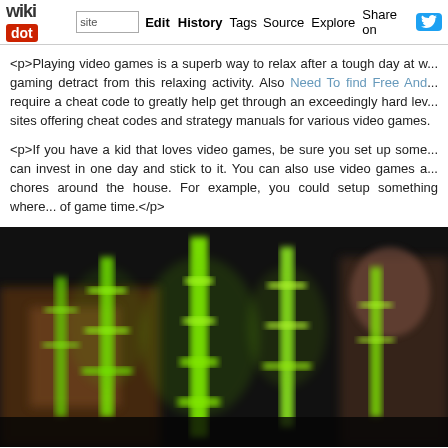wikidot | site Edit History Tags Source Explore Share on Twitter
<p>Playing video games is a superb way to relax after a tough day at w... gaming detract from this relaxing activity. Also Need To find Free And... require a cheat code to greatly help get through an exceedingly hard lev... sites offering cheat codes and strategy manuals for various video games.
<p>If you have a kid that loves video games, be sure you set up some... can invest in one day and stick to it. You can also use video games a... chores around the house. For example, you could setup something where... of game time.</p>
[Figure (photo): Blurry screenshot of a video game scene with glowing green neon-outlined characters/robots against a dark background]